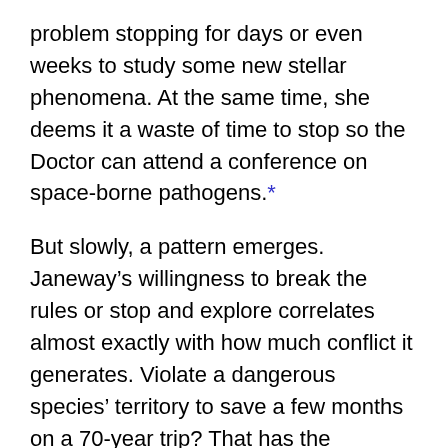problem stopping for days or even weeks to study some new stellar phenomena. At the same time, she deems it a waste of time to stop so the Doctor can attend a conference on space-borne pathogens.*
But slowly, a pattern emerges. Janeway's willingness to break the rules or stop and explore correlates almost exactly with how much conflict it generates. Violate a dangerous species' territory to save a few months on a 70-year trip? That has the potential to get Voyager blown up, so absolutely. Help some robots correct a flaw in their programming that stops them from reproducing? Well if she said yes the episode would be over and her Chief Engineer would have nothing to rail...